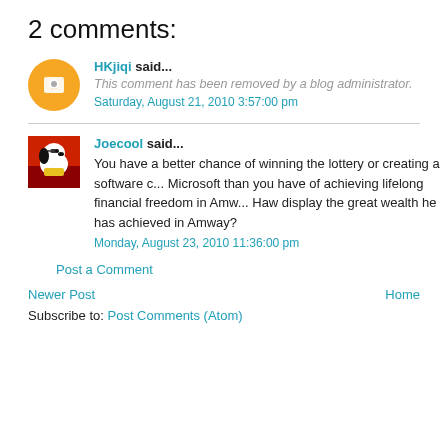2 comments:
HKjiqi said... This comment has been removed by a blog administrator. Saturday, August 21, 2010 3:57:00 pm
Joecool said... You have a better chance of winning the lottery or creating a software company that rivals Microsoft than you have of achieving lifelong financial freedom in Amway. Can Tex/Anna Banana/Haw display the great wealth he has achieved in Amway? Monday, August 23, 2010 11:36:00 pm
Post a Comment
Newer Post
Home
Subscribe to: Post Comments (Atom)